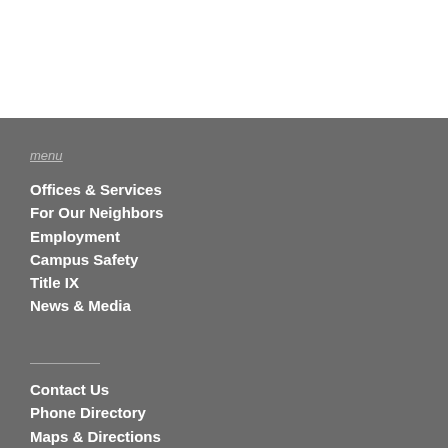menu
Offices & Services
For Our Neighbors
Employment
Campus Safety
Title IX
News & Media
Contact Us
Phone Directory
Maps & Directions
[Figure (logo): University logo with stylized wave/swirl marks in dark gray on medium gray background]